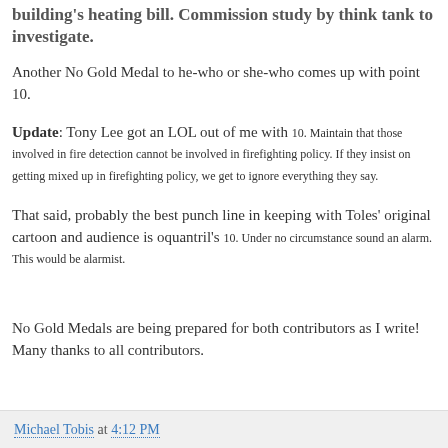building's heating bill. Commission study by think tank to investigate.
Another No Gold Medal to he-who or she-who comes up with point 10.
Update: Tony Lee got an LOL out of me with 10. Maintain that those involved in fire detection cannot be involved in firefighting policy. If they insist on getting mixed up in firefighting policy, we get to ignore everything they say.
That said, probably the best punch line in keeping with Toles' original cartoon and audience is oquantril's 10. Under no circumstance sound an alarm. This would be alarmist.
No Gold Medals are being prepared for both contributors as I write! Many thanks to all contributors.
Michael Tobis at 4:12 PM